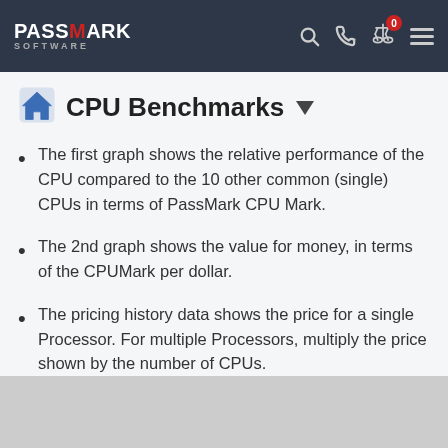PassMark Software
CPU Benchmarks
The first graph shows the relative performance of the CPU compared to the 10 other common (single) CPUs in terms of PassMark CPU Mark.
The 2nd graph shows the value for money, in terms of the CPUMark per dollar.
The pricing history data shows the price for a single Processor. For multiple Processors, multiply the price shown by the number of CPUs.